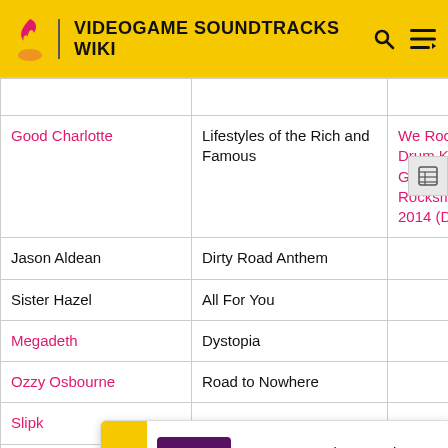VIDEOGAME SOUNDTRACKS WIKI
| Artist | Song | Games |
| --- | --- | --- |
| Good Charlotte | Lifestyles of the Rich and Famous | We Rock: Drum King, Guitar Hero TV, Rocksmith 2014 (DLC) |
| Jason Aldean | Dirty Road Anthem |  |
| Sister Hazel | All For You |  |
| Megadeth | Dystopia |  |
| Ozzy Osbourne | Road to Nowhere |  |
| Slipk… |  |  |
| Fitz… |  |  |
| Tant… |  |  |
We want your honest take on online discussions
SURVEY: ONLINE FORUMS